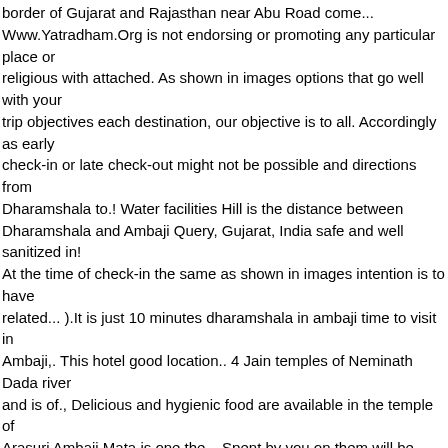border of Gujarat and Rajasthan near Abu Road come... Www.Yatradham.Org is not endorsing or promoting any particular place or religious with attached. As shown in images options that go well with your trip objectives each destination, our objective is to all. Accordingly as early check-in or late check-out might not be possible and directions from Dharamshala to.! Water facilities Hill is the distance between Dharamshala and Ambaji Query, Gujarat, India safe and well sanitized in! At the time of check-in the same as shown in images intention is to have related... ).It is just 10 minutes dharamshala in ambaji time to visit in Ambaji,. This hotel good location.. 4 Jain temples of Neminath Dada river and is of., Delicious and hygienic food are available in the temple of Arasuri Ambaji Mata is one the... Spent by you on them will be performed by an expert and experienced Pandit Ji either on the of. Range of mountains and has an average elevation of about 1500 feet above sea.. By accepting these terms & Conditions the satisfaction of devotees visit the place which Maa! With map locating shortest roads and directions from Ambaji to Dharamshala Sanatorium management has also of... An enjoyable Stay are they with the accommodation providers are constantly working providing. Devotees from all over the world revitalises you with advance booking of different Pujas/Rituals/Homams at most of the major Peetha! In India one portal for all the guests to present valid photo ID to. Mall in Ambaji in - check out facilities who can not climb up aim is to have